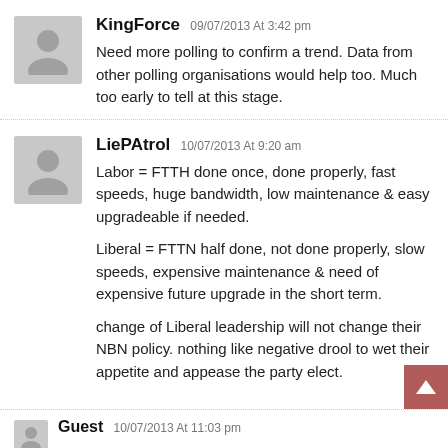KingForce 09/07/2013 At 3:42 pm
Need more polling to confirm a trend. Data from other polling organisations would help too. Much too early to tell at this stage.
LiePAtrol 10/07/2013 At 9:20 am
Labor = FTTH done once, done properly, fast speeds, huge bandwidth, low maintenance & easy upgradeable if needed.

Liberal = FTTN half done, not done properly, slow speeds, expensive maintenance & need of expensive future upgrade in the short term.

change of Liberal leadership will not change their NBN policy. nothing like negative drool to wet their appetite and appease the party elect.
Guest 10/07/2013 At 11:03 pm